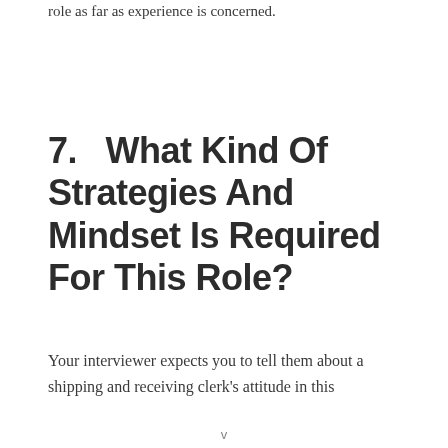role as far as experience is concerned.
7.   What Kind Of Strategies And Mindset Is Required For This Role?
Your interviewer expects you to tell them about a shipping and receiving clerk's attitude in this
v